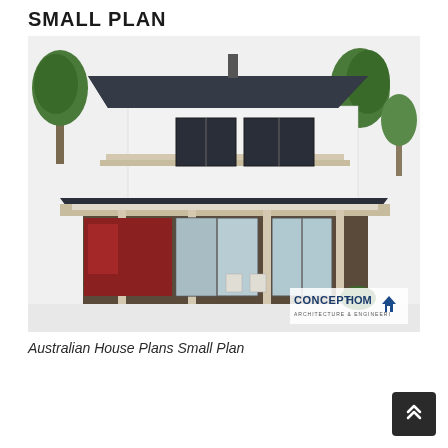SMALL PLAN
[Figure (illustration): 3D rendering of a two-storey Australian house with dark hip roof, covered veranda with slim posts, large glass sliding doors, brick lower level, white upper level, surrounded by trees. ConceptHom Architecture & Engineering logo in lower right of image.]
Australian House Plans Small Plan